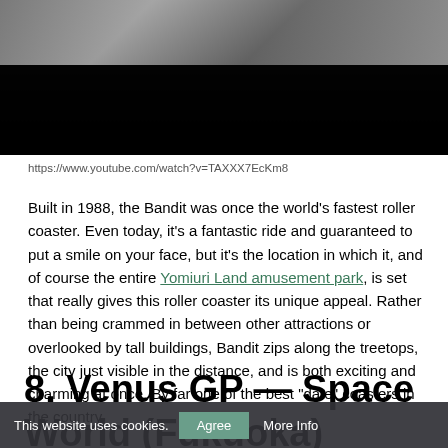[Figure (screenshot): Partial screenshot of a roller coaster video, showing blurred motion at top and dark/black lower portion]
https://www.youtube.com/watch?v=TAXXX7EcKm8
Built in 1988, the Bandit was once the world’s fastest roller coaster. Even today, it’s a fantastic ride and guaranteed to put a smile on your face, but it’s the location in which it, and of course the entire Yomiuri Land amusement park, is set that really gives this roller coaster its unique appeal. Rather than being crammed in between other attractions or overlooked by tall buildings, Bandit zips along the treetops, the city just visible in the distance, and is both exciting and charming at once. By far one of the best “date” coasters in the country.
8. Venus GP — Space World (Fukuoka)
This website uses cookies.